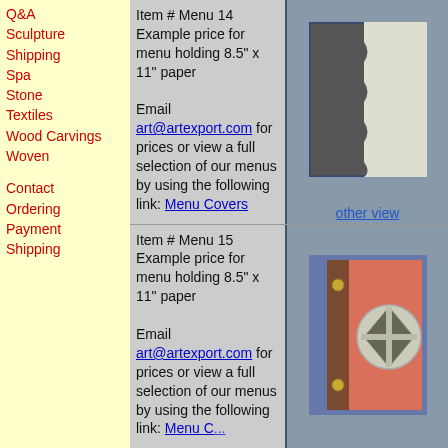Q&A
Sculpture
Shipping
Spa
Stone
Textiles
Wood Carvings
Woven
Contact
Ordering
Payment
Shipping
Item # Menu 14 Example price for menu holding 8.5" x 11" paper

Email art@artexport.com for prices or view a full selection of our menus by using the following link: Menu Covers
[Figure (photo): Menu cover item 14: dark grey cover with white strip and decorative wavy edge]
other view
Item # Menu 15 Example price for menu holding 8.5" x 11" paper

Email art@artexport.com for prices or view a full selection of our menus by using the following link: Menu Covers
[Figure (photo): Menu cover item 15: red/coral cover with wooden spine, brass rivets, and diamond-shaped metallic medallion]